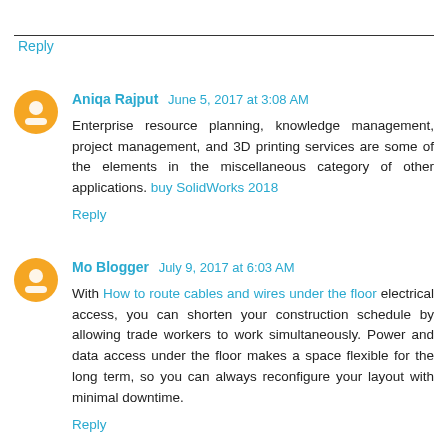Reply
Aniqa Rajput June 5, 2017 at 3:08 AM
Enterprise resource planning, knowledge management, project management, and 3D printing services are some of the elements in the miscellaneous category of other applications. buy SolidWorks 2018
Reply
Mo Blogger July 9, 2017 at 6:03 AM
With How to route cables and wires under the floor electrical access, you can shorten your construction schedule by allowing trade workers to work simultaneously. Power and data access under the floor makes a space flexible for the long term, so you can always reconfigure your layout with minimal downtime.
Reply